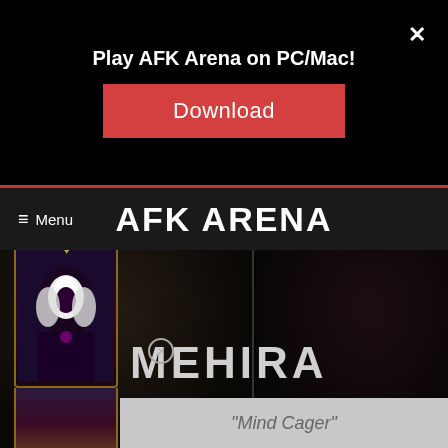Play AFK Arena on PC/Mac!
[Figure (screenshot): Download button for AFK Arena PC/Mac application, red button with white text saying Download, with X close button]
≡ Menu    AFK ARENA
[Figure (screenshot): AFK Arena game screenshot showing dark fantasy background split in two panels, with character card of Mehira on the left side]
MEHIRA
"Mind Cager"